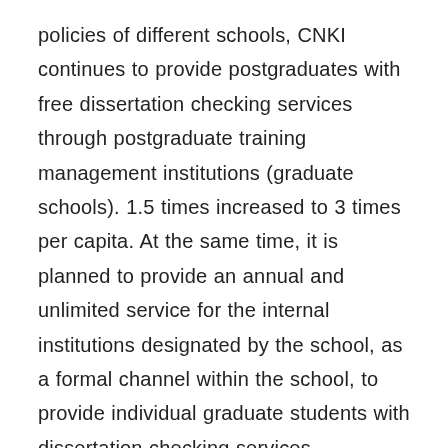policies of different schools, CNKI continues to provide postgraduates with free dissertation checking services through postgraduate training management institutions (graduate schools). 1.5 times increased to 3 times per capita. At the same time, it is planned to provide an annual and unlimited service for the internal institutions designated by the school, as a formal channel within the school, to provide individual graduate students with dissertation checking services.
In terms of charging, the price of the personal version is set at 1.5 yuan/thousand words, which is not higher than the price of mainstream similar products in the market, referring to the prevailing